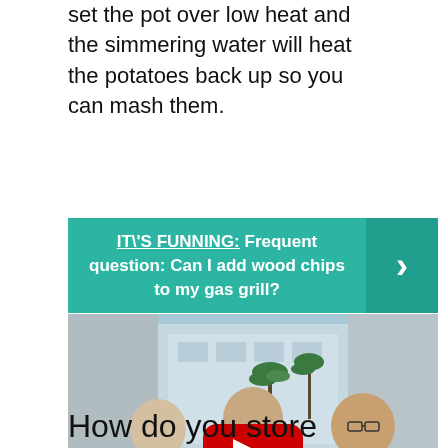set the pot over low heat and the simmering water will heat the potatoes back up so you can mash them.
IT\'S FUNNING: Frequent question: Can I add wood chips to my gas grill?
[Figure (photo): Three people seated around a glass table in a modern studio/office setting with large windows and palm trees visible outside. A woman with short blonde hair in a dark sweater with teal scarf on the left, a man in a plaid shirt in the center, and a woman with glasses in a tan blazer on the right. A YouTube play button overlay is visible in the center of the image.]
How do you store boiled